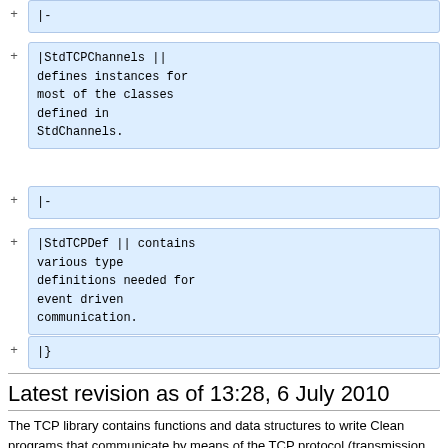|-
|StdTCPChannels || defines instances for most of the classes defined in StdChannels.
|-
|StdTCPDef || contains various type definitions needed for event driven communication.
|}
Latest revision as of 13:28, 6 July 2010
The TCP library contains functions and data structures to write Clean programs that communicate by means of the TCP protocol (transmission control protocol). This protocol lets you establish channels to send and